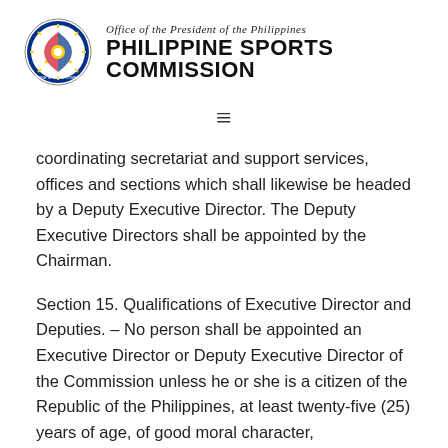Office of the President of the Philippines PHILIPPINE SPORTS COMMISSION
coordinating secretariat and support services, offices and sections which shall likewise be headed by a Deputy Executive Director. The Deputy Executive Directors shall be appointed by the Chairman.
Section 15. Qualifications of Executive Director and Deputies. – No person shall be appointed an Executive Director or Deputy Executive Director of the Commission unless he or she is a citizen of the Republic of the Philippines, at least twenty-five (25) years of age, of good moral character,